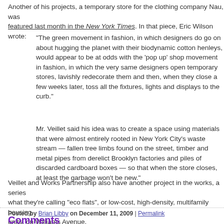Another of his projects, a temporary store for the clothing company Nau, was featured last month in the New York Times. In that piece, Eric Wilson wrote:
"The green movement in fashion, in which designers do go on about hugging the planet with their biodynamic cotton henleys, would appear to be at odds with the 'pop up' shop movement in fashion, in which the very same designers open temporary stores, lavishly redecorate them and then, when they close a few weeks later, toss all the fixtures, lights and displays to the curb."
Mr. Veillet said his idea was to create a space using materials that were almost entirely rooted in New York City’s waste stream — fallen tree limbs found on the street, timber and metal pipes from derelict Brooklyn factories and piles of discarded cardboard boxes — so that when the store closes, at least the garbage won’t be new."
Veillet and Works Partnership also have another project in the works, a series of what they're calling "eco flats", or low-cost, high-density, multifamily housing units, on Williams Avenue.
Posted by Brian Libby on December 11, 2009 | Permalink
Comments